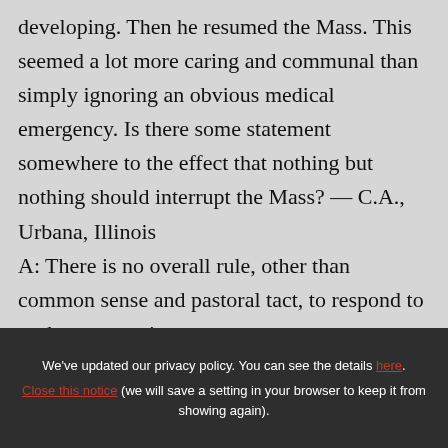developing. Then he resumed the Mass. This seemed a lot more caring and communal than simply ignoring an obvious medical emergency. Is there some statement somewhere to the effect that nothing but nothing should interrupt the Mass? — C.A., Urbana, Illinois
A: There is no overall rule, other than common sense and pastoral tact, to respond to such emergencies.
We've updated our privacy policy. You can see the details here. Close this notice (we will save a setting in your browser to keep it from showing again).